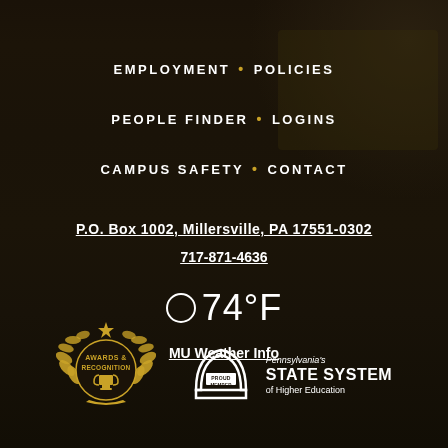EMPLOYMENT • POLICIES
PEOPLE FINDER • LOGINS
CAMPUS SAFETY • CONTACT
P.O. Box 1002, Millersville, PA 17551-0302
717-871-4636
○ 74°F
MU Weather Info
[Figure (logo): Awards & Recognition badge with golden laurel wreath and trophy]
[Figure (logo): Pennsylvania's State System of Higher Education - Proud Member badge]